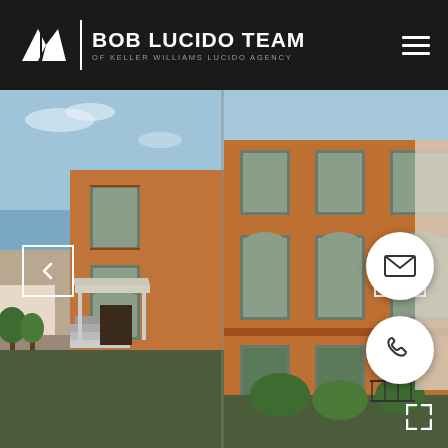[Figure (logo): Bob Lucido Team of Keller Williams Lucido Agency logo with geometric KW-style icon in white on dark background]
BOB LUCIDO TEAM
OF KELLER WILLIAMS LUCIDO AGENCY
[Figure (photo): Exterior photo of a multi-story brick townhouse/condominium building with arched windows, white entrance canopy with columns, stairs leading to entrance, trees in foreground, adjacent residential buildings visible in background against blue sky with light clouds. Image appears as two side-by-side panels of the same or similar building.]